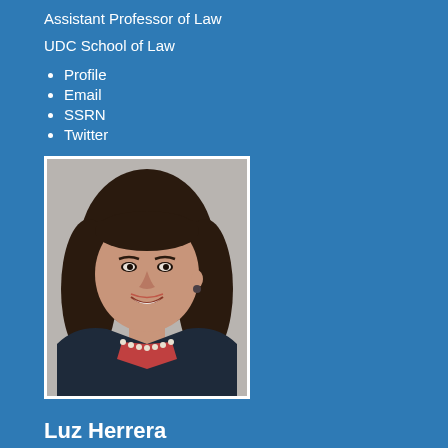Assistant Professor of Law
UDC School of Law
Profile
Email
SSRN
Twitter
[Figure (photo): Professional headshot photo of Luz Herrera, a woman with long dark hair, smiling, wearing a dark jacket and pearl necklace, against a light gray background]
Luz Herrera